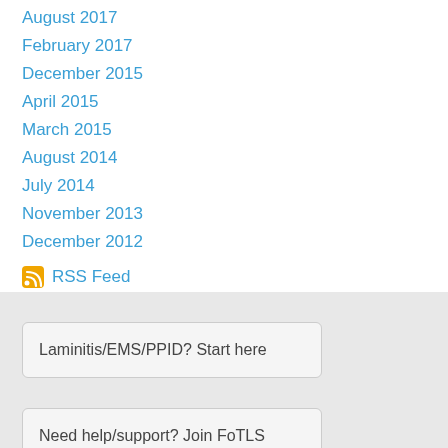August 2017
February 2017
December 2015
April 2015
March 2015
August 2014
July 2014
November 2013
December 2012
RSS Feed
Laminitis/EMS/PPID? Start here
Need help/support? Join FoTLS